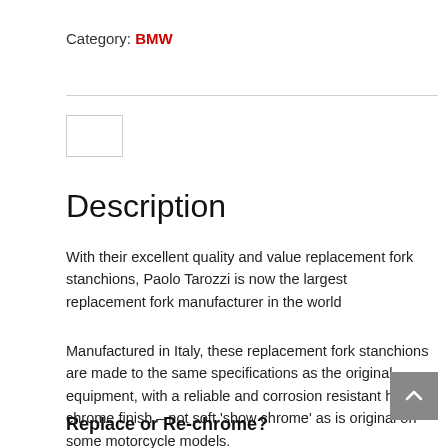Category: BMW
[Figure (other): Small placeholder image thumbnail]
Description
With their excellent quality and value replacement fork stanchions, Paolo Tarozzi is now the largest replacement fork manufacturer in the world
Manufactured in Italy, these replacement fork stanchions are made to the same specifications as the original equipment, with a reliable and corrosion resistant hard chrome finish – not soft 'show chrome' as is original on some motorcycle models.
Replace or Re-chrome?